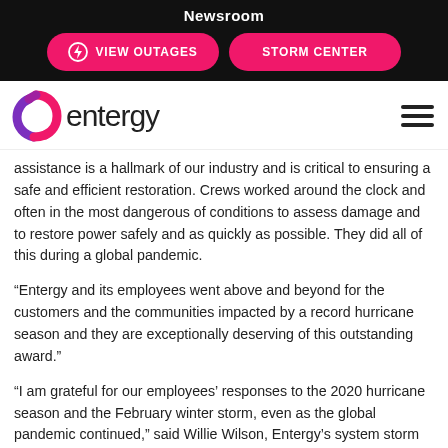Newsroom
[Figure (other): VIEW OUTAGES button with lightning bolt icon and STORM CENTER button, pink rounded buttons on black background]
[Figure (logo): Entergy logo with swirl icon and wordmark 'entergy' in dark gray]
assistance is a hallmark of our industry and is critical to ensuring a safe and efficient restoration. Crews worked around the clock and often in the most dangerous of conditions to assess damage and to restore power safely and as quickly as possible. They did all of this during a global pandemic.
“Entergy and its employees went above and beyond for the customers and the communities impacted by a record hurricane season and they are exceptionally deserving of this outstanding award.”
“I am grateful for our employees’ responses to the 2020 hurricane season and the February winter storm, even as the global pandemic continued,” said Willie Wilson, Entergy’s system storm incident commander. “Likewise, I am grateful for the